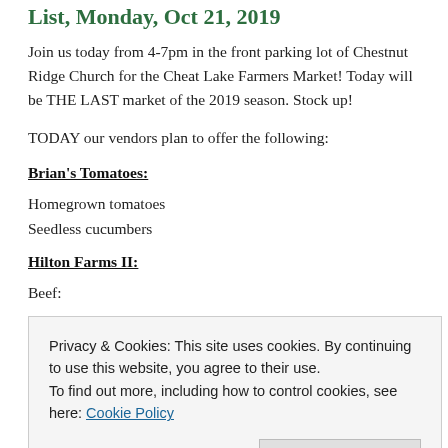List, Monday, Oct 21, 2019
Join us today from 4-7pm in the front parking lot of Chestnut Ridge Church for the Cheat Lake Farmers Market! Today will be THE LAST market of the 2019 season. Stock up!
TODAY our vendors plan to offer the following:
Brian's Tomatoes:
Homegrown tomatoes
Seedless cucumbers
Hilton Farms II:
Beef:
Privacy & Cookies: This site uses cookies. By continuing to use this website, you agree to their use.
To find out more, including how to control cookies, see here: Cookie Policy
T-Bone Steak